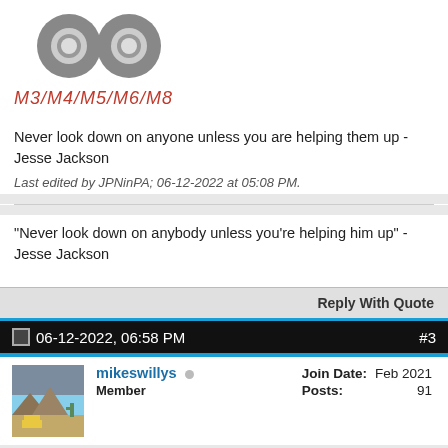[Figure (photo): Product photo of lock nuts/washers (M3/M4/M5/M6/M8) with red italic label text]
Never look down on anyone unless you are helping them up - Jesse Jackson
Last edited by JPNinPA; 06-12-2022 at 05:08 PM.
"Never look down on anybody unless you're helping him up" - Jesse Jackson
Reply With Quote
06-12-2022, 06:58 PM  #3
[Figure (photo): User avatar photo for mikeswillys showing desert landscape]
mikeswillys  Member  Join Date: Feb 2021  Posts: 91
Re: PSA: Hand Rivet Nuts (smdh)
Yeah those things can be a pain. The one time I used them I used jb weld around the lip and they stayed in place.